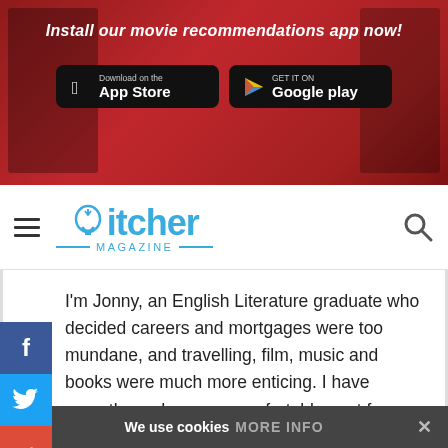[Figure (infographic): Red promotional banner with The Witcher imagery in background, showing 'Install our movie recommendations app now!' with App Store and Google Play download buttons]
itcher MAGAZINE
I'm Jonny, an English Literature graduate who decided careers and mortgages were too mundane, and travelling, film, music and books were much more enticing. I have recently made a very comfortable nest for myself in Santiago de Chile, and on itcher Mag where I regularly contribute eloquent waffle on all manner of media.
We use cookies MORE INFO